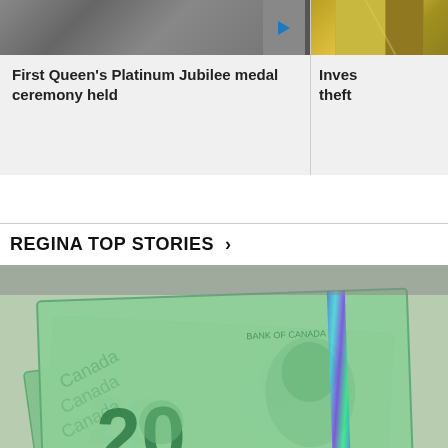[Figure (screenshot): Crowd at ceremony with video play button overlay]
First Queen's Platinum Jubilee medal ceremony held
[Figure (photo): Partially visible image on right side, yellow/gold tones]
Inves theft
REGINA TOP STORIES >
[Figure (photo): Canadian $20 bills stacked, green polymer banknotes with holographic security strip]